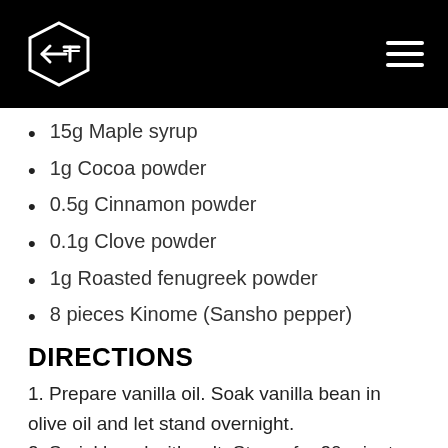15g Maple syrup
1g Cocoa powder
0.5g Cinnamon powder
0.1g Clove powder
1g Roasted fenugreek powder
8 pieces Kinome (Sansho pepper)
DIRECTIONS
1. Prepare vanilla oil. Soak vanilla bean in olive oil and let stand overnight.
2. Sprinkle eel with salt. Steam for 20 minutes in a convection oven at 100 °C.